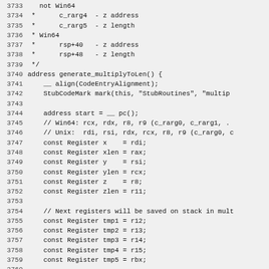Source code listing, lines 3733–3762, showing generate_multiplyToLen() stub routine implementation in C++/assembly stub generator code.